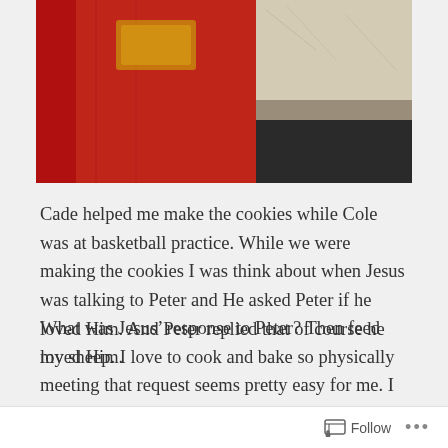[Figure (photo): Photo of a person in a red jersey/hoodie near what appears to be a fireplace or dark wooden furniture, with a marble or stone ledge visible in the upper right corner.]
Cade helped me make the cookies while Cole was at basketball practice. While we were making the cookies I was think about when Jesus was talking to Peter and He asked Peter if he loved Him. And Peter replied that of course he loved Him.
What was Jesus' response to Peter? Then feed my sheep. I love to cook and bake so physically meeting that request seems pretty easy for me. I cook supper most nights of the week.
Follow ...